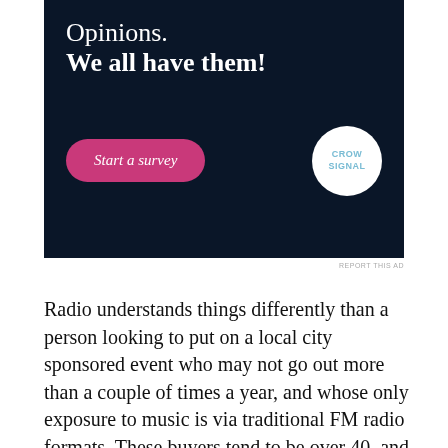[Figure (infographic): Advertisement banner with dark navy background. Large white text reads 'Opinions. We all have them!' with a pink 'Start a survey' button and a Crowdsignal logo in a white circle.]
REPORT THIS AD
Radio understands things differently than a person looking to put on a local city sponsored event who may not go out more than a couple of times a year, and whose only exposure to music is via traditional FM radio formats. These buyers tend to be over 40, and represents a fairly narrow target demographic audience that typically listens to radio that reinforces their nostalgic yearnings